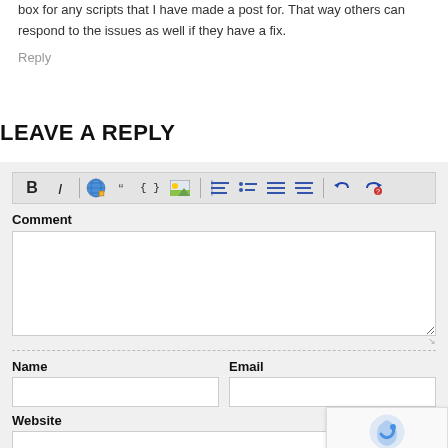box for any scripts that I have made a post for. That way others can respond to the issues as well if they have a fix.
Reply
LEAVE A REPLY
[Figure (screenshot): Comment form with toolbar (Bold, Italic, link, blockquote, code, image, list, alignment, undo buttons), Comment textarea, Name, Email, and Website input fields, and reCAPTCHA badge.]